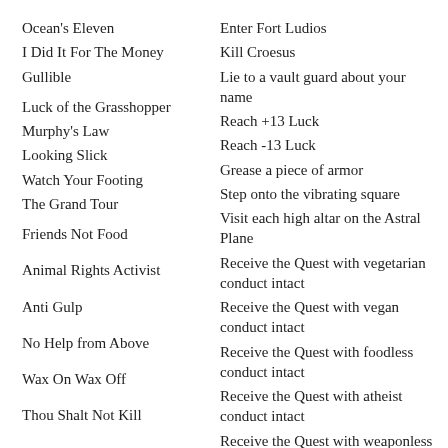Ocean's Eleven
Enter Fort Ludios
I Did It For The Money
Kill Croesus
Gullible
Lie to a vault guard about your name
Luck of the Grasshopper
Reach +13 Luck
Murphy's Law
Reach -13 Luck
Looking Slick
Grease a piece of armor
Watch Your Footing
Step onto the vibrating square
The Grand Tour
Visit each high altar on the Astral Plane
Friends Not Food
Receive the Quest with vegetarian conduct intact
Animal Rights Activist
Receive the Quest with vegan conduct intact
Anti Gulp
Receive the Quest with foodless conduct intact
No Help from Above
Receive the Quest with atheist conduct intact
Wax On Wax Off
Receive the Quest with weaponless conduct intact
Thou Shalt Not Kill
Receive the Quest with pacifist conduct intact